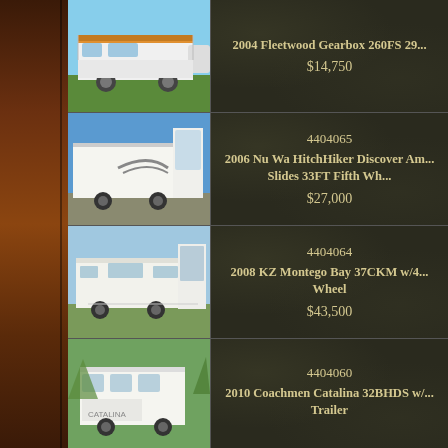[Figure (photo): 2004 Fleetwood Gearbox 260FS RV/trailer photo - white trailer with orange stripe on grass]
2004 Fleetwood Gearbox 260FS 29...
$14,750
[Figure (photo): 2006 Nu Wa HitchHiker Discover America RV photo - white fifth wheel trailer in parking area]
4404065
2006 Nu Wa HitchHiker Discover Am... Slides 33FT Fifth Wh...
$27,000
[Figure (photo): 2008 KZ Montego Bay 37CKM fifth wheel trailer photo - white trailer on grass]
4404064
2008 KZ Montego Bay 37CKM w/4... Wheel
$43,500
[Figure (photo): 2010 Coachmen Catalina 32BHDS trailer photo - white trailer in wooded area]
4404060
2010 Coachmen Catalina 32BHDS w/... Trailer